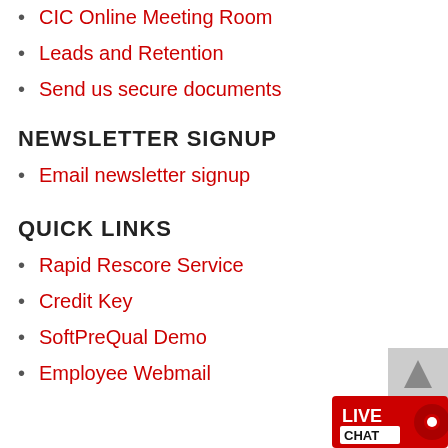CIC Online Meeting Room
Leads and Retention
Send us secure documents
NEWSLETTER SIGNUP
Email newsletter signup
QUICK LINKS
Rapid Rescore Service
Credit Key
SoftPreQual Demo
Employee Webmail
[Figure (other): Scroll to top button (grey background with upward arrow) and Live Chat badge (red background with speech bubble icon)]